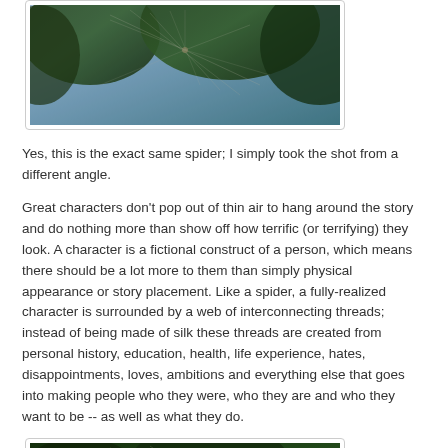[Figure (photo): A spider web among pine tree branches photographed from a different angle, with blue sky visible in the background]
Yes, this is the exact same spider; I simply took the shot from a different angle.
Great characters don't pop out of thin air to hang around the story and do nothing more than show off how terrific (or terrifying) they look. A character is a fictional construct of a person, which means there should be a lot more to them than simply physical appearance or story placement. Like a spider, a fully-realized character is surrounded by a web of interconnecting threads; instead of being made of silk these threads are created from personal history, education, health, life experience, hates, disappointments, loves, ambitions and everything else that goes into making people who they were, who they are and who they want to be -- as well as what they do.
[Figure (photo): Another photo of a spider or spider web in a green forested setting]